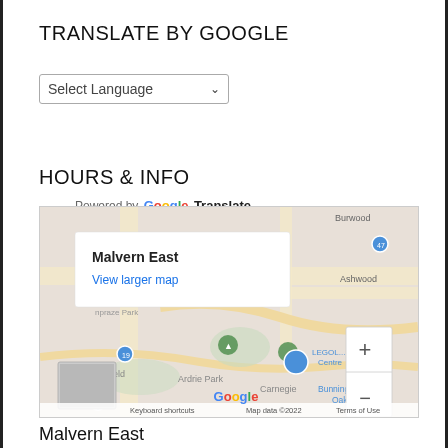TRANSLATE BY GOOGLE
[Figure (screenshot): Google Translate widget with Select Language dropdown and Powered by Google Translate text]
HOURS & INFO
[Figure (map): Google Map showing Malvern East area with popup showing 'Malvern East' and 'View larger map' link, zoom controls, and map footer with Keyboard shortcuts, Map data ©2022, Terms of Use]
Malvern East